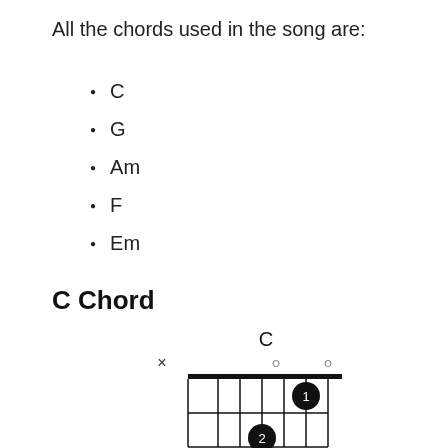All the chords used in the song are:
C
G
Am
F
Em
C Chord
[Figure (illustration): Guitar chord diagram for C chord showing finger positions on fretboard with X, O, O open/muted string markers and finger dots on frets]